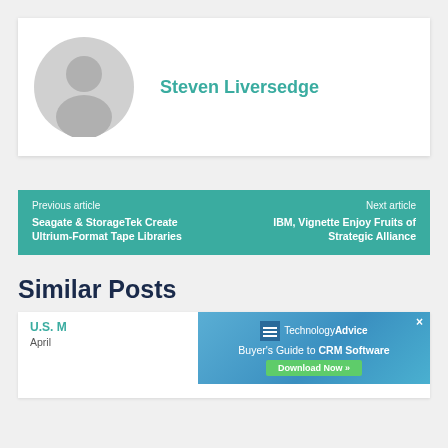[Figure (illustration): Author profile card with generic gray avatar icon and name Steven Liversedge in teal]
Steven Liversedge
Previous article
Seagate & StorageTek Create Ultrium-Format Tape Libraries
Next article
IBM, Vignette Enjoy Fruits of Strategic Alliance
Similar Posts
U.S. M
April
[Figure (screenshot): TechnologyAdvice advertisement: Buyer's Guide to CRM Software, Download Now button, with close X]